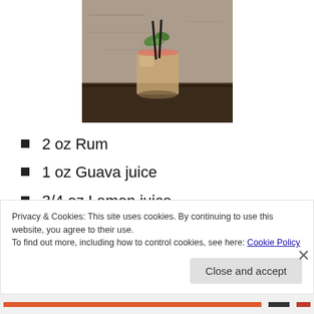[Figure (photo): A cocktail drink in a glass with mint garnish and black straws, sitting on a dark surface against a gray concrete wall background]
2 oz Rum
1 oz Guava juice
3/4 oz Lemon juice
3/4 oz Honey
Privacy & Cookies: This site uses cookies. By continuing to use this website, you agree to their use.
To find out more, including how to control cookies, see here: Cookie Policy